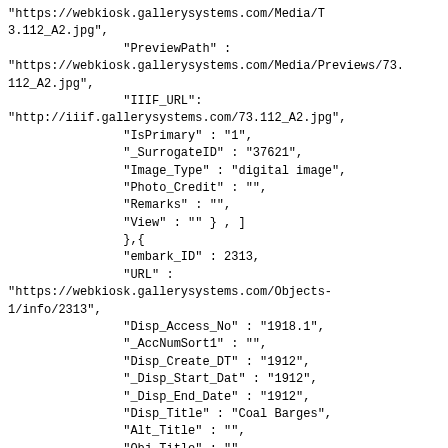"https://webkiosk.gallerysystems.com/Media/Thumbnails/73.112_A2.jpg",
                "PreviewPath" :
"https://webkiosk.gallerysystems.com/Media/Previews/73.112_A2.jpg",
                "IIIF_URL":
"http://iiif.gallerysystems.com/73.112_A2.jpg",
                "IsPrimary" : "1",
                "_SurrogateID" : "37621",
                "Image_Type" : "digital image",
                "Photo_Credit" : "",
                "Remarks" : "",
                "View" : "" } , ]
                },{
                "embark_ID" : 2313,
                "URL" :
"https://webkiosk.gallerysystems.com/Objects-1/info/2313",
                "Disp_Access_No" : "1918.1",
                "_AccNumSort1" : "",
                "Disp_Create_DT" : "1912",
                "_Disp_Start_Dat" : "1912",
                "_Disp_End_Date" : "1912",
                "Disp_Title" : "Coal Barges",
                "Alt_Title" : "",
                "Obj_Title" : "",
                "Series_Title" : "",
                "Disp_Maker_1" : "Rudolph Ruzicka",
                "Sort_Artist" : "Ruzicka, Rudolph",
                "Disp_Dimen" : "10 1/2 x 11 3/4 in.
(26.7 x 29.8 cm)",